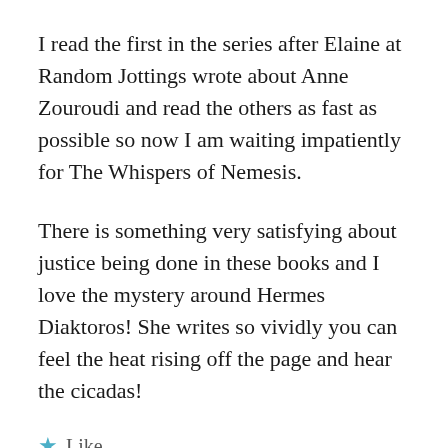I read the first in the series after Elaine at Random Jottings wrote about Anne Zouroudi and read the others as fast as possible so now I am waiting impatiently for The Whispers of Nemesis.
There is something very satisfying about justice being done in these books and I love the mystery around Hermes Diaktoros! She writes so vividly you can feel the heat rising off the page and hear the cicadas!
★ Like